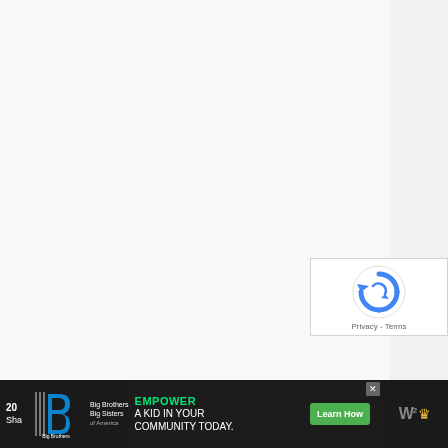[Figure (screenshot): reCAPTCHA widget with spinning arrow icon and Privacy - Terms links]
[Figure (screenshot): Bottom navigation bar with Big Brothers Big Sisters logo, advertisement banner 'EMPOWER A KID IN YOUR COMMUNITY TODAY.' with Learn How button and close X button, and W-squared logo on the right side]